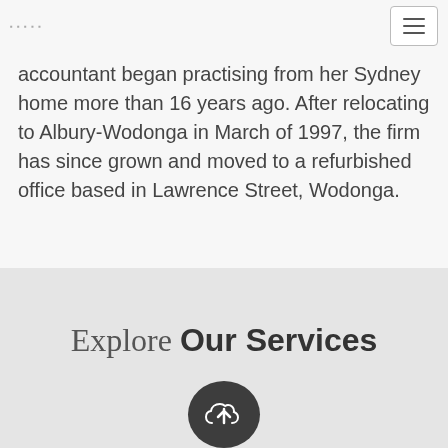accountant began practising from her Sydney home more than 16 years ago. After relocating to Albury-Wodonga in March of 1997, the firm has since grown and moved to a refurbished office based in Lawrence Street, Wodonga.
Explore Our Services
[Figure (illustration): Dark circle icon with a cloud upload symbol inside]